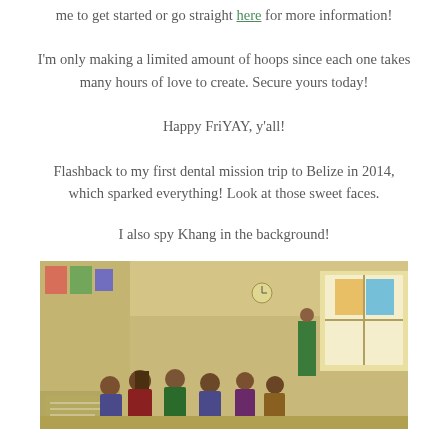me to get started or go straight here for more information!
I'm only making a limited amount of hoops since each one takes many hours of love to create. Secure yours today!
Happy FriYAY, y'all!
Flashback to my first dental mission trip to Belize in 2014, which sparked everything! Look at those sweet faces.
I also spy Khang in the background!
[Figure (photo): A classroom scene with children seated at desks and a person standing near a window in a yellow-walled room with educational posters on the walls.]